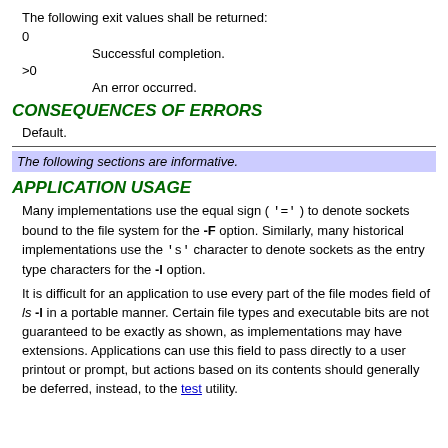The following exit values shall be returned:
0    Successful completion.
>0    An error occurred.
CONSEQUENCES OF ERRORS
Default.
The following sections are informative.
APPLICATION USAGE
Many implementations use the equal sign ( '=' ) to denote sockets bound to the file system for the -F option. Similarly, many historical implementations use the 's' character to denote sockets as the entry type characters for the -l option.
It is difficult for an application to use every part of the file modes field of ls -l in a portable manner. Certain file types and executable bits are not guaranteed to be exactly as shown, as implementations may have extensions. Applications can use this field to pass directly to a user printout or prompt, but actions based on its contents should generally be deferred, instead, to the test utility.